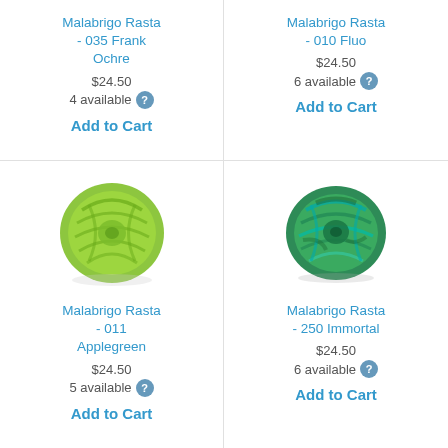Malabrigo Rasta - 035 Frank Ochre
$24.50
4 available
Add to Cart
Malabrigo Rasta - 010 Fluo
$24.50
6 available
Add to Cart
[Figure (photo): Bright yellow-green skein of Malabrigo Rasta yarn wound into a ball]
Malabrigo Rasta - 011 Applegreen
$24.50
5 available
Add to Cart
[Figure (photo): Variegated green and teal skein of Malabrigo Rasta yarn wound into a ball]
Malabrigo Rasta - 250 Immortal
$24.50
6 available
Add to Cart